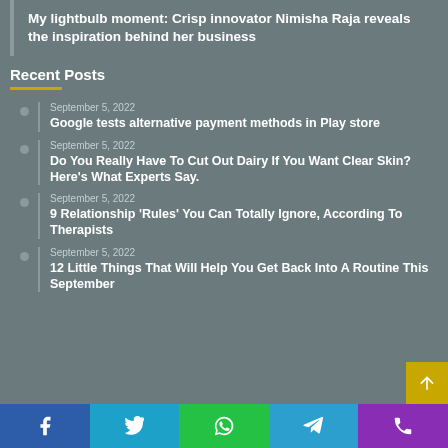My lightbulb moment: Crisp innovator Nimisha Raja reveals the inspiration behind her business
Recent Posts
September 5, 2022 — Google tests alternative payment methods in Play store
September 5, 2022 — Do You Really Have To Cut Out Dairy If You Want Clear Skin? Here's What Experts Say.
September 5, 2022 — 9 Relationship 'Rules' You Can Totally Ignore, According To Therapists
September 5, 2022 — 12 Little Things That Will Help You Get Back Into A Routine This September